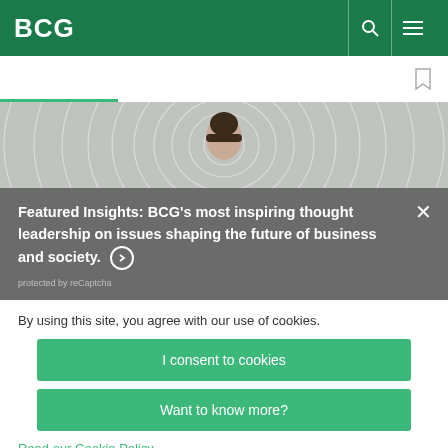BCG
[Figure (screenshot): BCG website screenshot showing a hero image of a person surrounded by circular light trails, a gray promotional panel, and a cookie consent overlay]
Featured Insights: BCG's most inspiring thought leadership on issues shaping the future of business and society.
protected by reCaptcha
By using this site, you agree with our use of cookies.
I consent to cookies
Want to know more?
Read our Cookie Policy